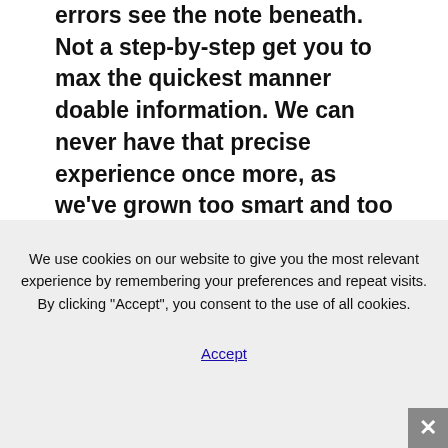errors see the note beneath. Not a step-by-step get you to max the quickest manner doable information. We can never have that precise experience once more, as we've grown too smart and too jaded to be wowed in the identical means we have been again then. Some video games call
We use cookies on our website to give you the most relevant experience by remembering your preferences and repeat visits. By clicking “Accept”, you consent to the use of all cookies.
Accept
by joining forces with a bunch of (typically) like minded individuals. Virtual Private Server (VPS) permits consumer entry to an
operating system occasion with a fine-grained control of personal software